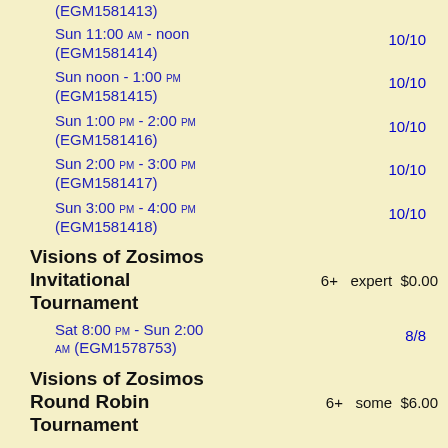(EGM1581413)
Sun 11:00 AM - noon (EGM1581414)   10/10
Sun noon - 1:00 PM (EGM1581415)   10/10
Sun 1:00 PM - 2:00 PM (EGM1581416)   10/10
Sun 2:00 PM - 3:00 PM (EGM1581417)   10/10
Sun 3:00 PM - 4:00 PM (EGM1581418)   10/10
Visions of Zosimos Invitational Tournament   6+   expert   $0.00
Sat 8:00 PM - Sun 2:00 AM (EGM1578753)   8/8
Visions of Zosimos Round Robin Tournament   6+   some   $6.00